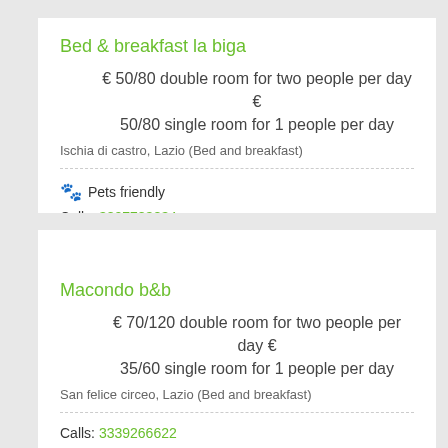Bed & breakfast la biga
€ 50/80 double room for two people per day € 50/80 single room for 1 people per day
Ischia di castro, Lazio (Bed and breakfast)
🐾 Pets friendly
Calls: 3807783834
Macondo b&b
€ 70/120 double room for two people per day € 35/60 single room for 1 people per day
San felice circeo, Lazio (Bed and breakfast)
Calls: 3339266622